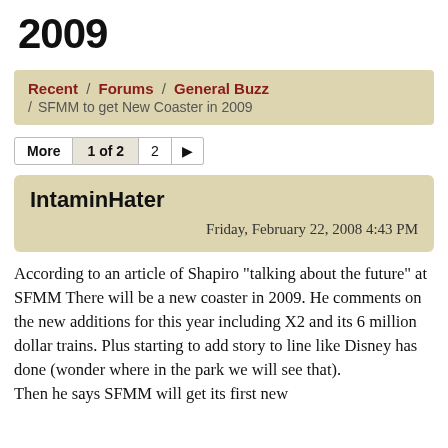2009
Recent / Forums / General Buzz / SFMM to get New Coaster in 2009
More  1 of 2  2  ▶
IntaminHater
Friday, February 22, 2008 4:43 PM
According to an article of Shapiro "talking about the future" at SFMM There will be a new coaster in 2009. He comments on the new additions for this year including X2 and its 6 million dollar trains. Plus starting to add story to line like Disney has done (wonder where in the park we will see that). Then he says SFMM will get its first new